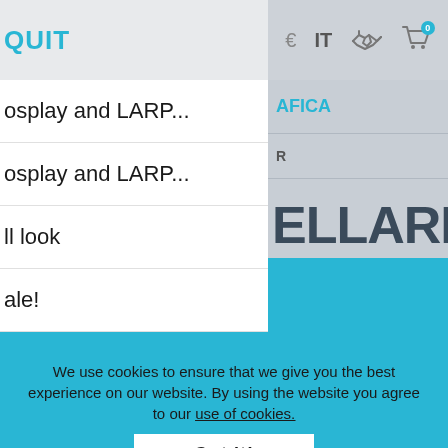[Figure (screenshot): Website navigation bar showing 'QUIT' in cyan, and right side icons including 'IT' text and handshake/cart icons on gray background]
osplay and LARP...
osplay and LARP...
ll look
ale!
AFICA
R
ELLARI
We use cookies to ensure that we give you the best experience on our website. By using the website you agree to our use of cookies.
Got it!